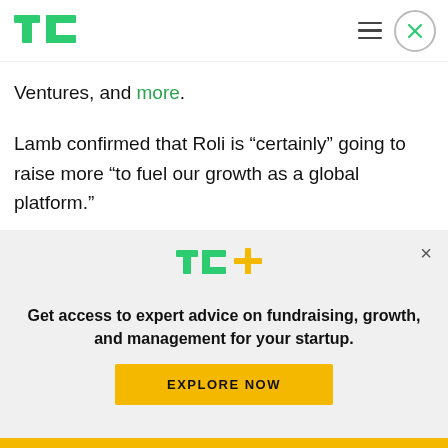TechCrunch logo and navigation
Ventures, and more.
Lamb confirmed that Roli is “certainly” going to raise more “to fuel our growth as a global platform.”
Pitchbook, the firm that analyses venture rounds in private companies, tells us that in fact a follow-on round is underway. Pitchbook said its Series B
[Figure (logo): TechCrunch TC+ logo with green TC and yellow plus sign]
Get access to expert advice on fundraising, growth, and management for your startup.
EXPLORE NOW